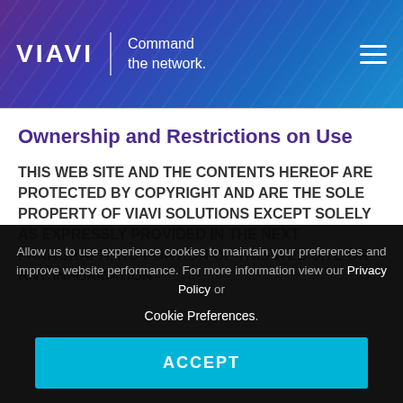[Figure (logo): VIAVI Solutions logo with 'Command the network.' tagline on a blue-purple gradient header with hamburger menu icon]
Ownership and Restrictions on Use
THIS WEB SITE AND THE CONTENTS HEREOF ARE PROTECTED BY COPYRIGHT AND ARE THE SOLE PROPERTY OF VIAVI SOLUTIONS EXCEPT SOLELY AS EXPRESSLY PROVIDED IN THE NEXT PARAGRAPH, NO PORTION OF THIS WEB SITE OR ANY INFORMATION
Allow us to use experience cookies to maintain your preferences and improve website performance. For more information view our Privacy Policy or Cookie Preferences.
ACCEPT